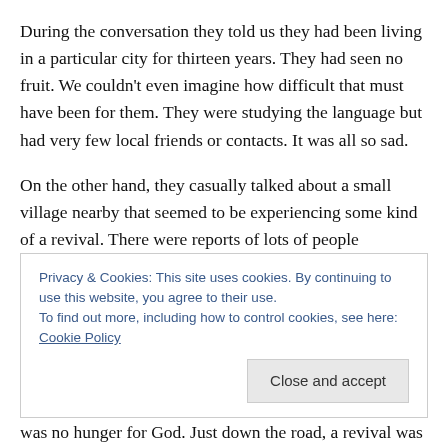During the conversation they told us they had been living in a particular city for thirteen years.  They had seen no fruit.  We couldn't even imagine how difficult that must have been for them.  They were studying the language but had very few local friends or contacts.  It was all so sad.
On the other hand, they casually talked about a small village nearby that seemed to be experiencing some kind of a revival.  There were reports of lots of people becoming spiritually aware and interested.  They commented that there was a real need for teachers and
Privacy & Cookies: This site uses cookies. By continuing to use this website, you agree to their use.
To find out more, including how to control cookies, see here: Cookie Policy
Close and accept
was no hunger for God.  Just down the road, a revival was